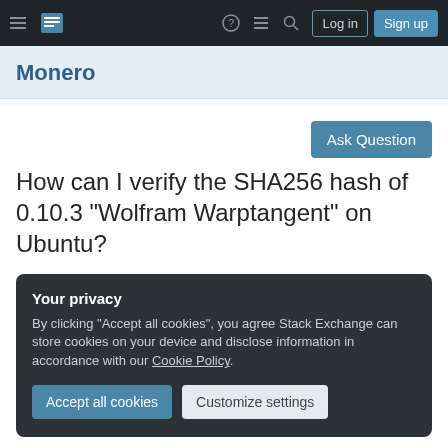≡  [Stack Exchange logo]  ?  ≡  🔍  Log in  Sign up
Monero
Ask Question
How can I verify the SHA256 hash of 0.10.3 "Wolfram Warptangent" on Ubuntu?
Your privacy
By clicking "Accept all cookies", you agree Stack Exchange can store cookies on your device and disclose information in accordance with our Cookie Policy.
Accept all cookies  Customize settings
cryptography  linux  ubuntu  hash-verification